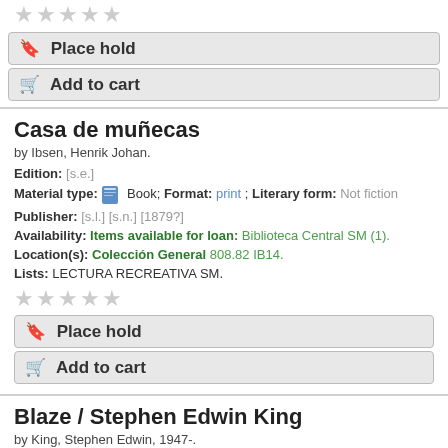[Figure (other): Star rating (5 empty stars) at top]
Place hold
Add to cart
Casa de muñecas
by Ibsen, Henrik Johan.
Edition: [s.e.]
Material type: Book; Format: print ; Literary form: Not fiction
Publisher: [s.l.] [s.n.] [1879?]
Availability: Items available for loan: Biblioteca Central SM (1).
Location(s): Colección General 808.82 IB14.
Lists: LECTURA RECREATIVA SM.
[Figure (other): Star rating (5 empty stars)]
Place hold
Add to cart
Blaze / Stephen Edwin King
by King, Stephen Edwin, 1947-.
Edition: 1a.
Material type: Book; Format: print ; Literary form: Not fiction